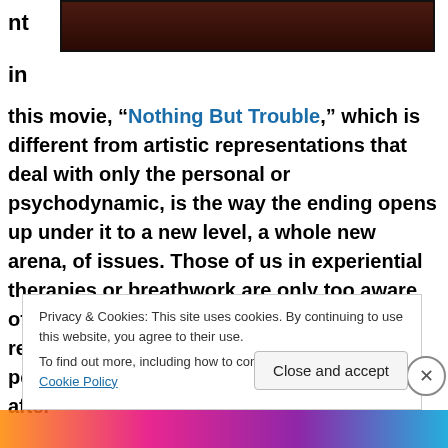[Figure (photo): Partial image with dark reddish-brown background, cropped at top]
nt
in
this movie, “Nothing But Trouble,” which is different from artistic representations that deal with only the personal or psychodynamic, is the way the ending opens up under it to a new level, a whole new arena, of issues. Those of us in experiential therapies or breathwork are only too aware of how the perinatal opens up to one, revealing a greater expanse and pervasiveness of dis-ease, at a certain point after
Privacy & Cookies: This site uses cookies. By continuing to use this website, you agree to their use.
To find out more, including how to control cookies, see here: Cookie Policy
Close and accept